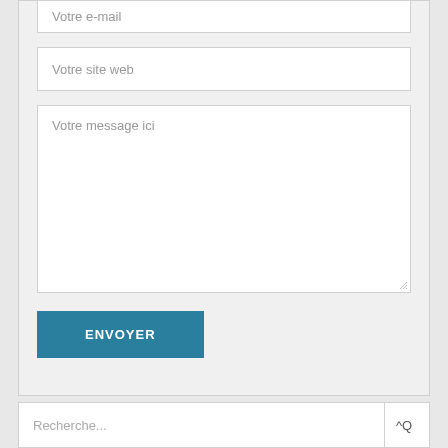Votre e-mail
Votre site web
Votre message ici
ENVOYER
Recherche...